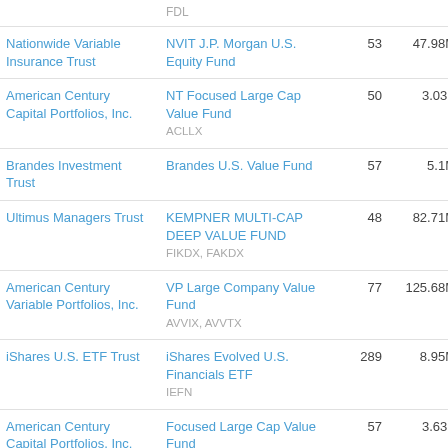| Trust | Fund | Holdings | AUM | Avg Daily Vol |  |
| --- | --- | --- | --- | --- | --- |
|  | FDL |  |  |  |  |
| Nationwide Variable Insurance Trust | NVIT J.P. Morgan U.S. Equity Fund | 53 | 47.98M | 934.42K | 1 |
| American Century Capital Portfolios, Inc. | NT Focused Large Cap Value Fund
ACLLX | 50 | 3.03B | 59.03M | 1 |
| Brandes Investment Trust | Brandes U.S. Value Fund | 57 | 5.1M | 98.6K | 1 |
| Ultimus Managers Trust | KEMPNER MULTI-CAP DEEP VALUE FUND
FIKDX, FAKDX | 48 | 82.71M | 1.61M | 1 |
| American Century Variable Portfolios, Inc. | VP Large Company Value Fund
AVVIX, AVVTX | 77 | 125.68M | 2.43M | 1 |
| iShares U.S. ETF Trust | iShares Evolved U.S. Financials ETF
IEFN | 289 | 8.95M | 172.22K | 1 |
| American Century Capital Portfolios, Inc. | Focused Large Cap Value Fund
ALVIX, ALPAX, ALVSX, ALPOH, ALVTX | 57 | 3.63B | 69.76M | 1 |